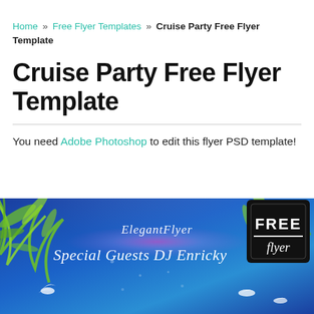Home » Free Flyer Templates » Cruise Party Free Flyer Template
Cruise Party Free Flyer Template
You need Adobe Photoshop to edit this flyer PSD template!
[Figure (illustration): Cruise party flyer preview showing a tropical night scene with palm leaves, glowing pink stage light, white doves/birds, text 'ElegantFlyer' and 'Special Guests DJ Enricky' in script font, with a 'FREE Flyer' badge in the top right corner against a blue gradient background.]